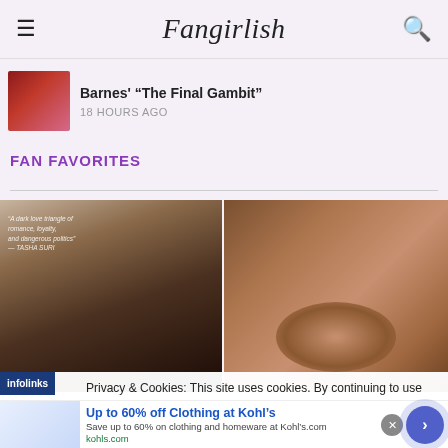Fangirlish
Barnes' “The Final Gambit”
18 HOURS AGO
FAN FAVORITES
[Figure (photo): Book cover showing two figures in romantic pose with ornate background]
[Figure (photo): Close-up portrait of a red-haired woman with blue-green eyes]
Privacy & Cookies: This site uses cookies. By continuing to use this you agree to their use.
Up to 60% off Clothing at Kohl’s
Save up to 60% on clothing and homeware at Kohl’s.com
kohls.com